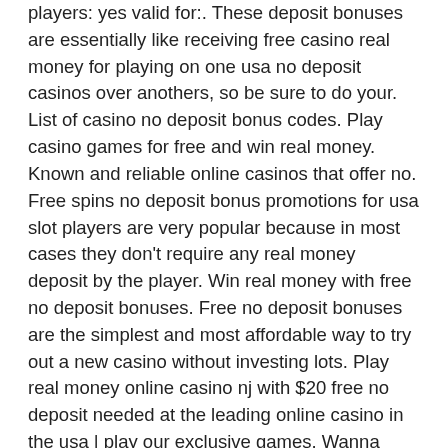players: yes valid for:. These deposit bonuses are essentially like receiving free casino real money for playing on one usa no deposit casinos over anothers, so be sure to do your. List of casino no deposit bonus codes. Play casino games for free and win real money. Known and reliable online casinos that offer no. Free spins no deposit bonus promotions for usa slot players are very popular because in most cases they don't require any real money deposit by the player. Win real money with free no deposit bonuses. Free no deposit bonuses are the simplest and most affordable way to try out a new casino without investing lots. Play real money online casino nj with $20 free no deposit needed at the leading online casino in the usa | play our exclusive games. Wanna know how to win real money in online casinos for free? best online casino real money no deposit bonus codes 2022 only on 🎩 casinosanalyzer. Online slots no deposit 🎰